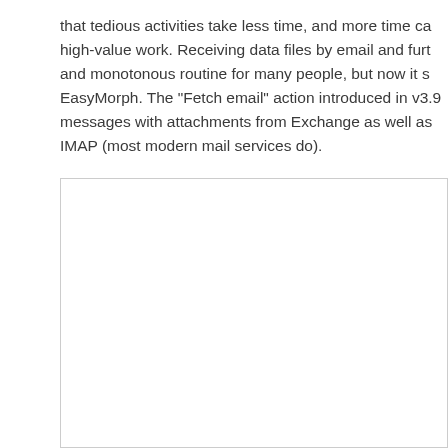that tedious activities take less time, and more time ca high-value work. Receiving data files by email and furt and monotonous routine for many people, but now it s EasyMorph. The "Fetch email" action introduced in v3.9 messages with attachments from Exchange as well as IMAP (most modern mail services do).
[Figure (screenshot): A rectangular boxed area with a light border, appearing to be a screenshot or image placeholder, mostly white/blank content area.]